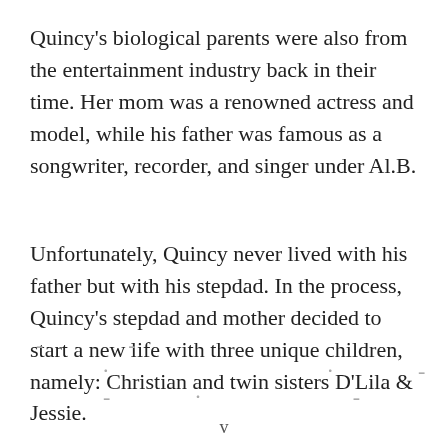Quincy's biological parents were also from the entertainment industry back in their time. Her mom was a renowned actress and model, while his father was famous as a songwriter, recorder, and singer under Al.B.
Unfortunately, Quincy never lived with his father but with his stepdad. In the process, Quincy's stepdad and mother decided to start a new life with three unique children, namely: Christian and twin sisters D'Lila & Jessie.
- - - . - - - -